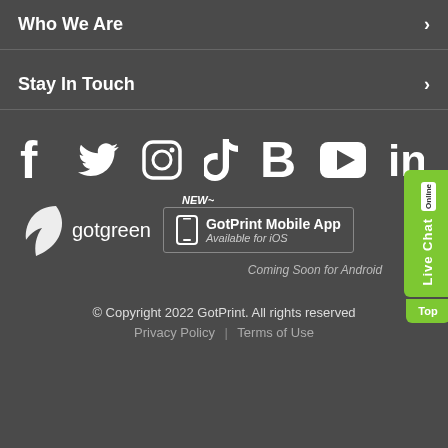Who We Are
Stay In Touch
[Figure (illustration): Social media icons: Facebook, Twitter, Instagram, TikTok, Blogger/B, YouTube, LinkedIn — displayed as white icons on dark background]
[Figure (logo): gotgreen logo with white leaf icon and text 'gotgreen']
[Figure (infographic): GotPrint Mobile App promo box — 'NEW' badge, phone icon, text 'GotPrint Mobile App – Available for iOS', 'Coming Soon for Android']
[Figure (infographic): Live Chat Online sidebar button in green, with 'Top' button below]
© Copyright 2022 GotPrint. All rights reserved Privacy Policy | Terms of Use